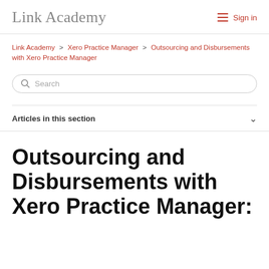Link Academy   Sign in
Link Academy > Xero Practice Manager > Outsourcing and Disbursements with Xero Practice Manager
Search
Articles in this section
Outsourcing and Disbursements with Xero Practice Manager: